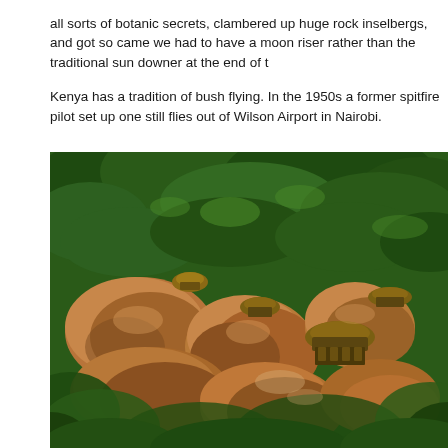all sorts of botanic secrets, clambered up huge rock inselbergs, and got so came we had to have a moon riser rather than the traditional sun downer at the end of t
Kenya has a tradition of bush flying. In the 1950s a former spitfire pilot set up one still flies out of Wilson Airport in Nairobi.
[Figure (photo): Aerial view of a bush lodge nestled among large granite inselberg rocks and dense green tropical forest canopy. Thatched-roof structures are visible among the boulders and trees.]